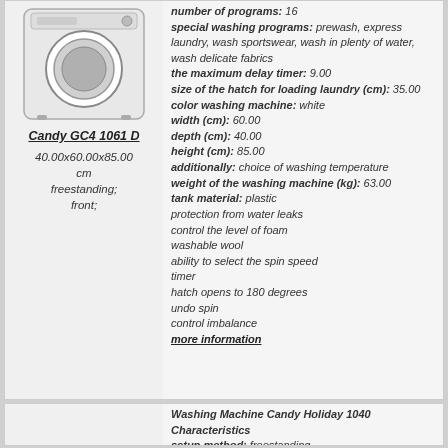[Figure (photo): Candy GC4 1061 D front-loading washing machine, white]
Candy GC4 1061 D
40.00x60.00x85.00 cm freestanding; front;
number of programs: 16 special washing programs: prewash, express laundry, wash sportswear, wash in plenty of water, wash delicate fabrics the maximum delay timer: 9.00 size of the hatch for loading laundry (cm): 35.00 color washing machine: white width (cm): 60.00 depth (cm): 40.00 height (cm): 85.00 additionally: choice of washing temperature weight of the washing machine (kg): 63.00 tank material: plastic protection from water leaks control the level of foam washable wool ability to select the spin speed timer hatch opens to 180 degrees undo spin control imbalance more information
Washing Machine Candy Holiday 1040 Characteristics setup method: freestanding download type: front maximum load (kg): 4.00 wash class: A spin efficiency class: D water consumption per wash cycle (n): 39.00